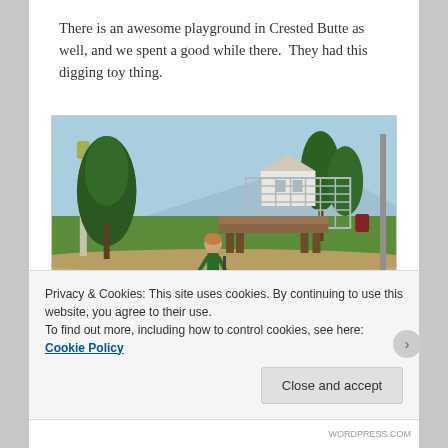There is an awesome playground in Crested Butte as well, and we spent a good while there.  They had this digging toy thing.
[Figure (photo): A child playing on a digging toy in a sandy playground area. There are trees, a wooden bench, and a metal structure visible in the background on a grassy area.]
Privacy & Cookies: This site uses cookies. By continuing to use this website, you agree to their use.
To find out more, including how to control cookies, see here: Cookie Policy
WORDPRESS.COM